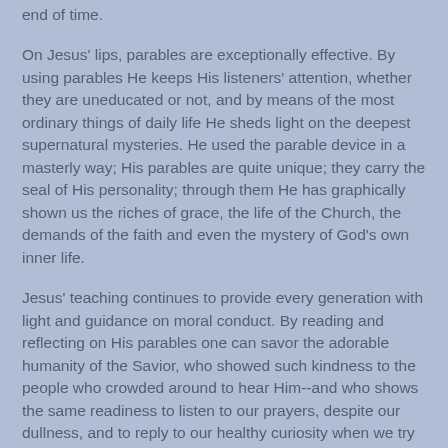end of time.
On Jesus' lips, parables are exceptionally effective. By using parables He keeps His listeners' attention, whether they are uneducated or not, and by means of the most ordinary things of daily life He sheds light on the deepest supernatural mysteries. He used the parable device in a masterly way; His parables are quite unique; they carry the seal of His personality; through them He has graphically shown us the riches of grace, the life of the Church, the demands of the faith and even the mystery of God's own inner life.
Jesus' teaching continues to provide every generation with light and guidance on moral conduct. By reading and reflecting on His parables one can savor the adorable humanity of the Savior, who showed such kindness to the people who crowded around to hear Him--and who shows the same readiness to listen to our prayers, despite our dullness, and to reply to our healthy curiosity when we try to make out His meaning.
3-8. Anyone who has visited the fertile plain to the west of